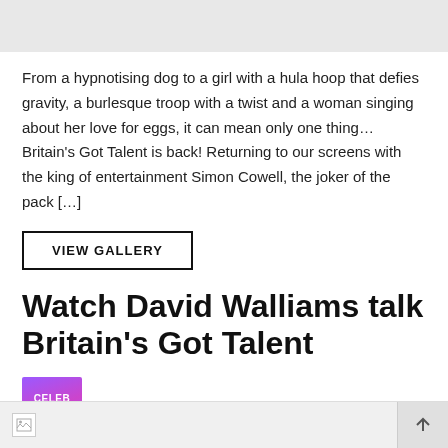[Figure (other): Gray header bar placeholder]
From a hypnotising dog to a girl with a hula hoop that defies gravity, a burlesque troop with a twist and a woman singing about her love for eggs, it can mean only one thing…Britain's Got Talent is back! Returning to our screens with the king of entertainment Simon Cowell, the joker of the pack […]
VIEW GALLERY
Watch David Walliams talk Britain's Got Talent
by CelebMix 7 years ago
[Figure (screenshot): Bottom browser bar with broken image icon and back-to-top arrow button]